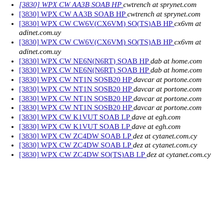[3830] WPX CW AA3B SOAB HP  cwtrench at sprynet.com (partial, top cut off)
[3830] WPX CW AA3B SOAB HP  cwtrench at sprynet.com
[3830] WPX CW CW6V(CX6VM) SO(TS)AB HP  cx6vm at adinet.com.uy
[3830] WPX CW CW6V(CX6VM) SO(TS)AB HP  cx6vm at adinet.com.uy
[3830] WPX CW NE6N(N6RT) SOAB HP  dab at home.com
[3830] WPX CW NE6N(N6RT) SOAB HP  dab at home.com
[3830] WPX CW NT1N SOSB20 HP  davcar at portone.com
[3830] WPX CW NT1N SOSB20 HP  davcar at portone.com
[3830] WPX CW NT1N SOSB20 HP  davcar at portone.com
[3830] WPX CW NT1N SOSB20 HP  davcar at portone.com
[3830] WPX CW K1VUT SOAB LP  dave at egh.com
[3830] WPX CW K1VUT SOAB LP  dave at egh.com
[3830] WPX CW ZC4DW SOAB LP  dez at cytanet.com.cy
[3830] WPX CW ZC4DW SOAB LP  dez at cytanet.com.cy
[3830] WPX CW ZC4DW SO(TS)AB LP  dez at cytanet.com.cy (partial, bottom cut off)